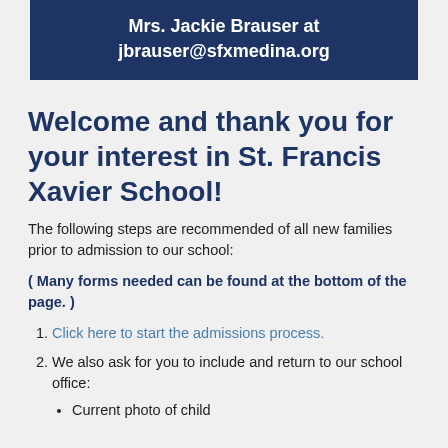Mrs. Jackie Brauser at jbrauser@sfxmedina.org
Welcome and thank you for your interest in St. Francis Xavier School!
The following steps are recommended of all new families prior to admission to our school:
( Many forms needed can be found at the bottom of the page. )
Click here to start the admissions process.
We also ask for you to include and return to our school office:
Current photo of child